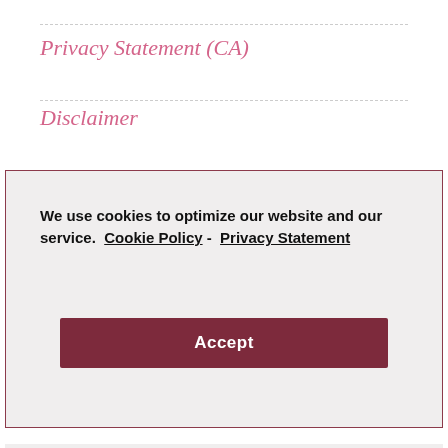Privacy Statement (CA)
Disclaimer
We use cookies to optimize our website and our service.  Cookie Policy -  Privacy Statement
Accept
OUR OTHER SITES
Elongtress.com
SlayThatHair.com